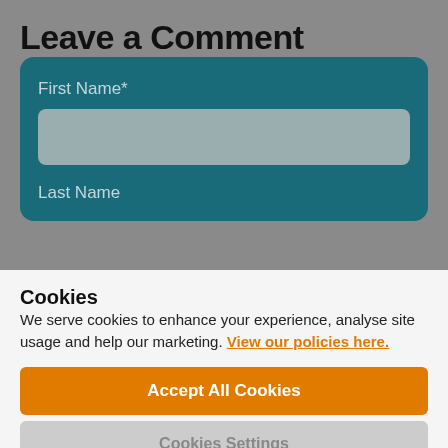Leave a Comment
First Name*
Last Name
Cookies
We serve cookies to enhance your experience, analyse site usage and help our marketing. View our policies here.
Accept All Cookies
Cookies Settings